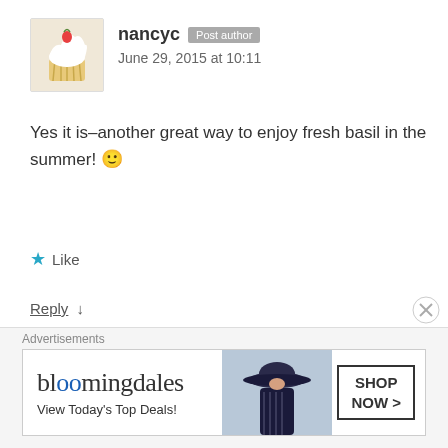[Figure (photo): Cupcake avatar for user nancyc]
nancyc Post author
June 29, 2015 at 10:11
Yes it is–another great way to enjoy fresh basil in the summer! 🙂
★ Like
Reply ↓
[Figure (illustration): Default grid avatar for user juliagrace]
juliagrace
July 6, 2015 at 5:40
Advertisements
[Figure (screenshot): Bloomingdale's advertisement banner: View Today's Top Deals! SHOP NOW >]